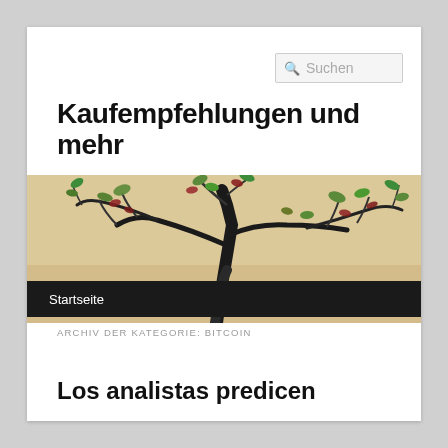[Figure (photo): Bonsai tree with dark twisted trunk and green/red leaves against a warm beige background, serving as the website header image]
Kaufempfehlungen und mehr
ARCHIV DER KATEGORIE: BITCOIN
Los analistas predicen